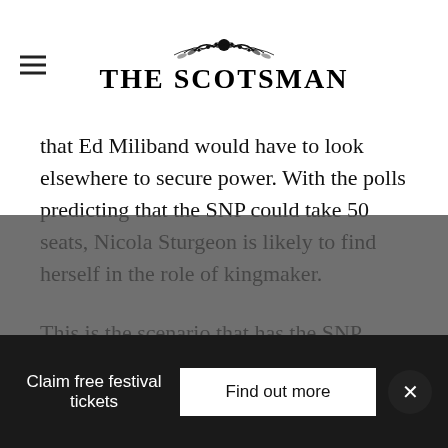THE SCOTSMAN
that Ed Miliband would have to look elsewhere to secure power. With the polls predicting that the SNP could take 50 seats, Nicola Sturgeon is likely to find herself in the role of kingmaker.
This is the scenario that has the SNP licking its lips. In the post-referendum world, the SNP is more relevant than ever before when it comes to a Westminster election. With Miliband ignoring pleas from his backbenchers to categorically rule out dealing...